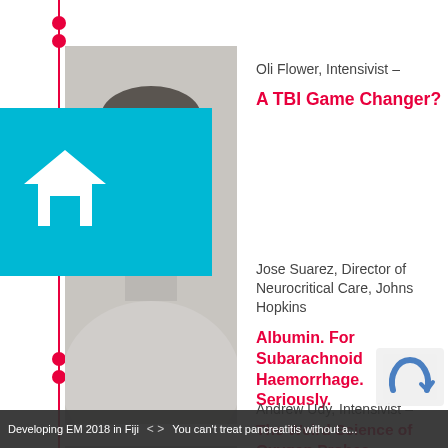[Figure (photo): Black and white headshot portrait of Oli Flower, male, facing camera]
Oli Flower, Intensivist –
A TBI Game Changer?
[Figure (photo): Black and white headshot portrait of Jose Suarez, male with glasses]
Jose Suarez, Director of Neurocritical Care, Johns Hopkins
Albumin. For Subarachnoid Haemorrhage. Seriously.
[Figure (photo): Black and white headshot portrait of Andrew Udy, male]
Andrew Udy, Intensivist –
The Weird Science of Oxygen Probes
Developing EM 2018 in Fiji   < >   You can't treat pancreatitis without a...